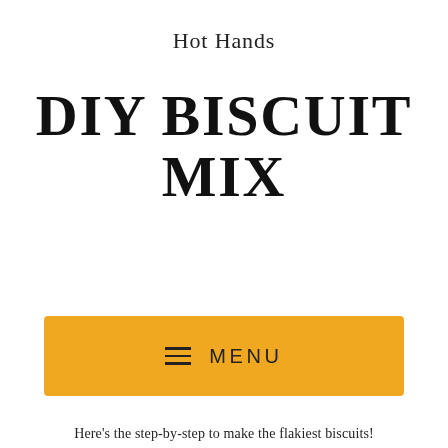Hot Hands
DIY BISCUIT MIX
[Figure (other): Yellow menu bar with hamburger icon and MENU text label]
Here’s the step-by-step to make the flakiest biscuits!